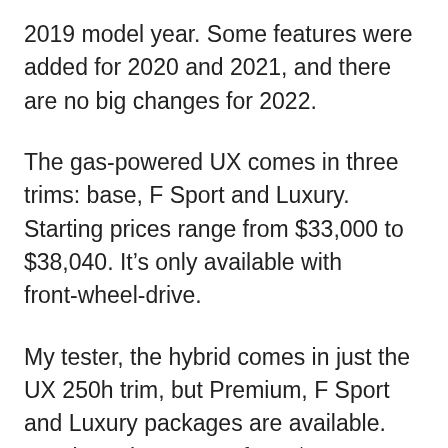2019 model year. Some features were added for 2020 and 2021, and there are no big changes for 2022.
The gas-powered UX comes in three trims: base, F Sport and Luxury. Starting prices range from $33,000 to $38,040. It’s only available with front-wheel-drive.
My tester, the hybrid comes in just the UX 250h trim, but Premium, F Sport and Luxury packages are available. Starting prices range from $35,200 to $40,240. All-wheel-drive is standard on the hybrid.